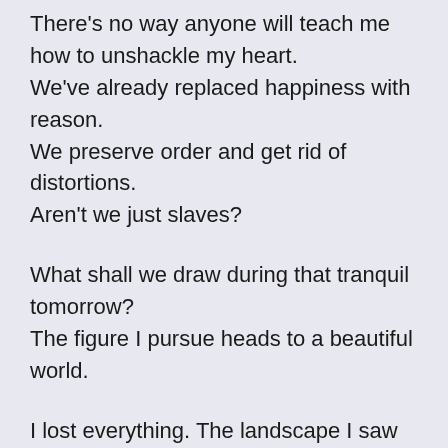There's no way anyone will teach me how to unshackle my heart. We've already replaced happiness with reason. We preserve order and get rid of distortions. Aren't we just slaves?
What shall we draw during that tranquil tomorrow? The figure I pursue heads to a beautiful world.
I lost everything. The landscape I saw then will not fade.